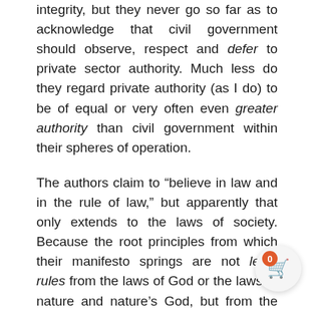integrity, but they never go so far as to acknowledge that civil government should observe, respect and defer to private sector authority. Much less do they regard private authority (as I do) to be of equal or very often even greater authority than civil government within their spheres of operation.
The authors claim to “believe in law and in the rule of law,” but apparently that only extends to the laws of society. Because the root principles from which their manifesto springs are not legal rules from the laws of God or the laws of nature and nature’s God, but from the motivations of religious duty, Christian faith, and the Gospel of Jesus.
And notice how the final sentence quoted above